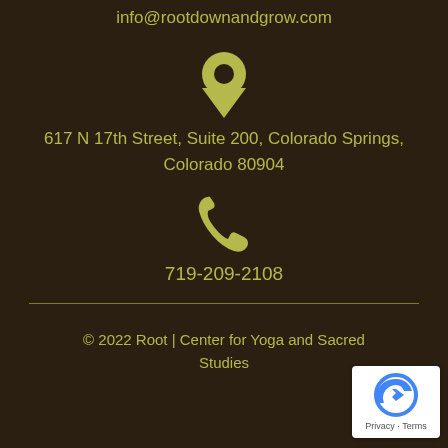info@rootdownandgrow.com
[Figure (illustration): Yellow/olive location pin icon]
617 N 17th Street, Suite 200, Colorado Springs, Colorado 80904
[Figure (illustration): Yellow/olive telephone handset icon]
719-209-2108
© 2022 Root | Center for Yoga and Sacred Studies
[Figure (logo): Google reCAPTCHA badge with Privacy - Terms text]